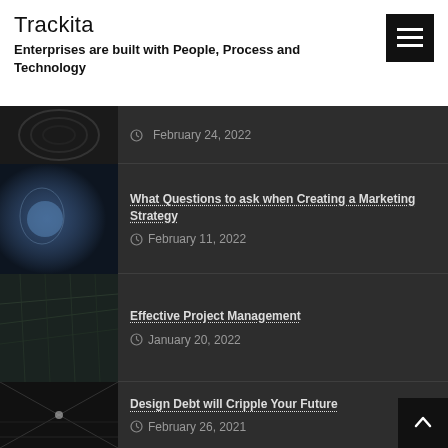Trackita
Enterprises are built with People, Process and Technology
February 24, 2022
What Questions to ask when Creating a Marketing Strategy
February 11, 2022
Effective Project Management
January 20, 2022
Design Debt will Cripple Your Future
February 26, 2021